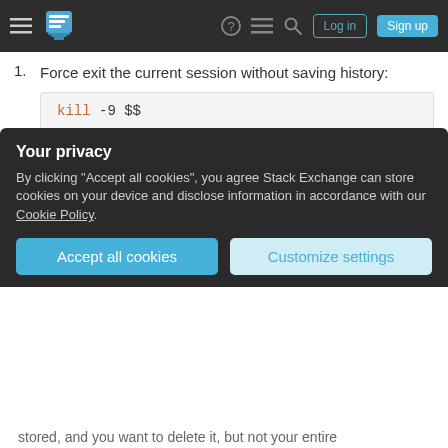Stack Exchange navigation header with hamburger menu, logo, help, chat, search icons, Log in and Sign up buttons
Force exit the current session without saving history:
kill -9 $$
This will drop all current history.
Type ↑ (up arrow) in the open bash session until the sensitive information is shown, then use line editing keystrokes like Ctrl + W to delete the sensitive info, and then ↓ (down arrow) until a new empty line is prompted, before typing
Your privacy
By clicking "Accept all cookies", you agree Stack Exchange can store cookies on your device and disclose information in accordance with our Cookie Policy.
Accept all cookies | Customize settings
stored, and you want to delete it, but not your entire